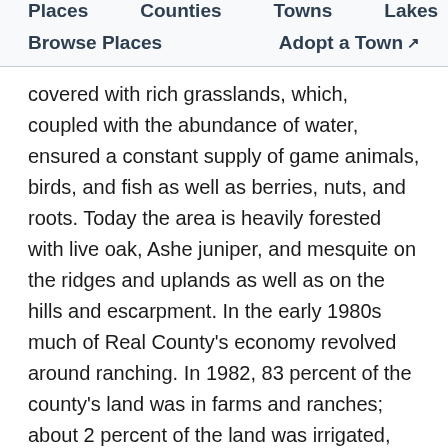Places   Counties   Towns   Lakes
Browse Places   Adopt a Town
covered with rich grasslands, which, coupled with the abundance of water, ensured a constant supply of game animals, birds, and fish as well as berries, nuts, and roots. Today the area is heavily forested with live oak, Ashe juniper, and mesquite on the ridges and uplands as well as on the hills and escarpment. In the early 1980s much of Real County's economy revolved around ranching. In 1982, 83 percent of the county's land was in farms and ranches; about 2 percent of the land was irrigated, and 97 percent of the county's agricultural receipts derived from livestock, especially cattle, sheep, and angora goats. Only about 3 percent of the county's workforce was engaged in manufacturing; tourism supported 117 workers, more